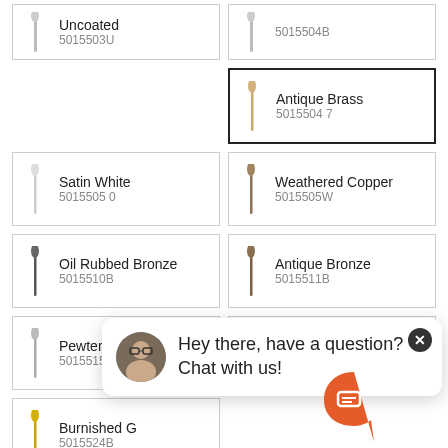[Figure (other): Product listing page showing decorative rod finials in various finishes with product names and SKU codes. Includes a live chat popup overlay.]
Uncoated
5015503U
5015504B (partial, cut off)
Antique Brass
5015504 7
Satin White
5015505 0
Weathered Copper
5015505W
Oil Rubbed Bronze
5015510B
Antique Bronze
5015511B
Pewter
5015515A
Burnished Nickel
5015515B
Burnished G
5015524B
Old English Brass
50155OEB
Hey there, have a question? Chat with us!